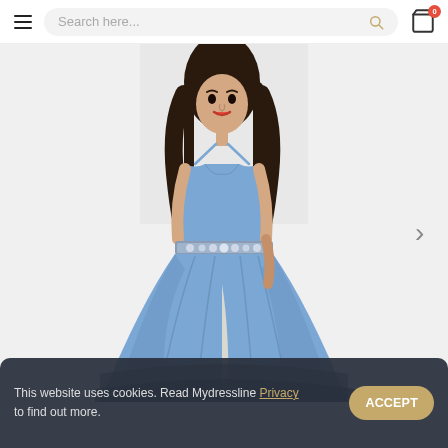Search here...
[Figure (photo): A model wearing a cornflower blue satin ball gown with spaghetti straps, sweetheart neckline, jeweled waist belt, and high slit, posing against a white background.]
This website uses cookies. Read Mydressline Privacy Policy to find out more.
ACCEPT